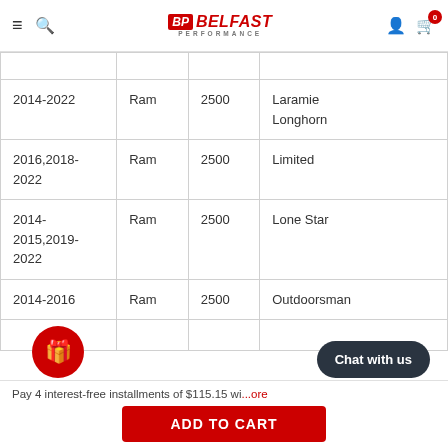Belfast Performance
| Year | Make | Model | Submodel |
| --- | --- | --- | --- |
| 2014-2022 | Ram | 2500 | Laramie Longhorn |
| 2016,2018-2022 | Ram | 2500 | Limited |
| 2014-2015,2019-2022 | Ram | 2500 | Lone Star |
| 2014-2016 | Ram | 2500 | Outdoorsman |
|  |  |  |  |
Pay 4 interest-free installments of $115.15 with more
ADD TO CART